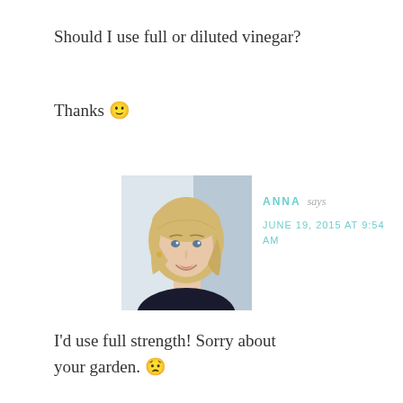Should I use full or diluted vinegar?
Thanks 🙂
[Figure (photo): Portrait photo of Anna, a smiling blonde woman with a bob haircut, wearing a dark top, against a light background.]
ANNA says
JUNE 19, 2015 AT 9:54 AM
I'd use full strength! Sorry about your garden. 😟